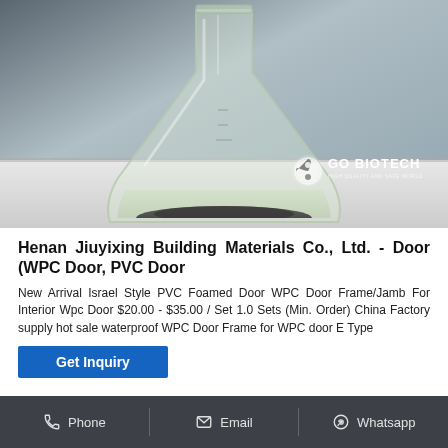[Figure (photo): Photo of an Erlenmeyer flask containing a clear liquid with a dark sediment at the bottom, placed on a white surface. GO BIOTECH watermark visible in the lower right corner of the photo.]
Henan Jiuyixing Building Materials Co., Ltd. - Door (WPC Door, PVC Door
New Arrival Israel Style PVC Foamed Door WPC Door Frame/Jamb For Interior Wpc Door $20.00 - $35.00 / Set 1.0 Sets (Min. Order) China Factory supply hot sale waterproof WPC Door Frame for WPC door E Type
Get Inquiry
Phone   Email   Whatsapp